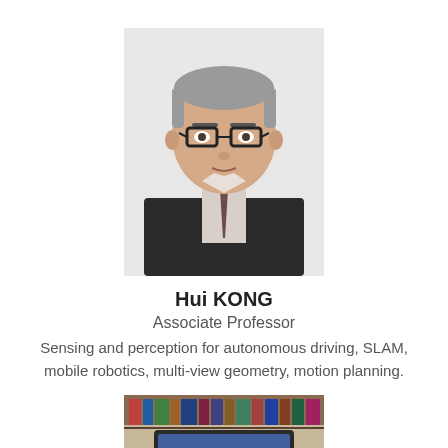[Figure (photo): Professional headshot of Hui KONG, a middle-aged man with short grey-black hair, wearing glasses and a dark suit with a patterned tie, against a white background.]
Hui KONG
Associate Professor
Sensing and perception for autonomous driving, SLAM, mobile robotics, multi-view geometry, motion planning.
[Figure (photo): Partial photo of a person viewed from behind, with bookshelves visible in the background.]